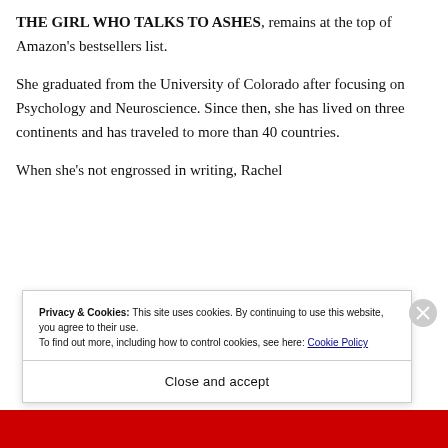THE GIRL WHO TALKS TO ASHES, remains at the top of Amazon's bestsellers list.
She graduated from the University of Colorado after focusing on Psychology and Neuroscience. Since then, she has lived on three continents and has traveled to more than 40 countries.
When she's not engrossed in writing, Rachel
Privacy & Cookies: This site uses cookies. By continuing to use this website, you agree to their use. To find out more, including how to control cookies, see here: Cookie Policy
Close and accept